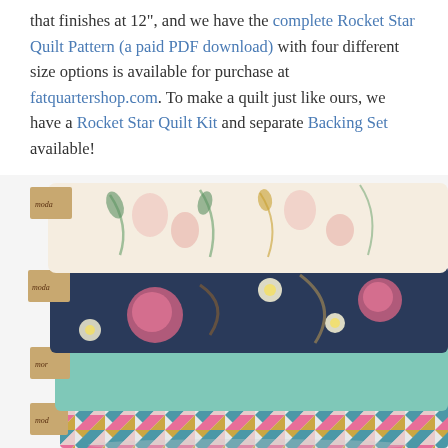that finishes at 12", and we have the complete Rocket Star Quilt Pattern (a paid PDF download) with four different size options is available for purchase at fatquartershop.com. To make a quilt just like ours, we have a Rocket Star Quilt Kit and separate Backing Set available!
[Figure (photo): Stack of four folded fabric bolts on a white background. Top bolt: cream fabric with pink floral print. Second bolt: dark navy fabric with pink roses and white daisy pattern. Third bolt: solid mint/teal green fabric. Bottom bolt (partially visible): geometric triangle pattern in pink, teal, and gold. Each bolt has a cardboard label on the left side reading 'moda'.]